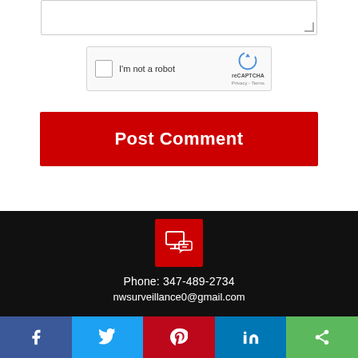[Figure (screenshot): Textarea input box with resize handle at bottom-right corner]
[Figure (screenshot): reCAPTCHA widget with checkbox, 'I'm not a robot' label, and reCAPTCHA logo with Privacy and Terms links]
Post Comment
[Figure (logo): Red square with white surveillance/camera icon]
Phone: 347-489-2734
nwsurveillance0@gmail.com
Social share bar: Facebook, Twitter, Pinterest, LinkedIn, Share